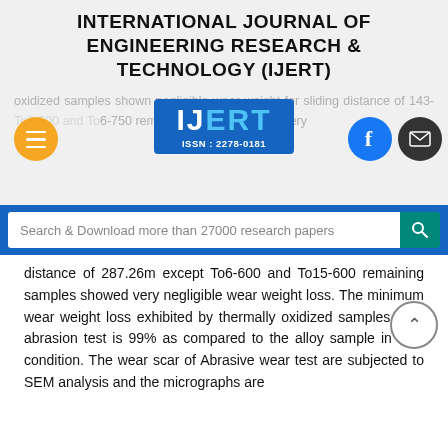INTERNATIONAL JOURNAL OF ENGINEERING RESEARCH & TECHNOLOGY (IJERT)
[Figure (logo): IJERT logo with ISSN: 2278-0181 on blue background, surrounded by navigation icons (hamburger menu, Facebook, email) and faded background text]
Search & Download more than 27000 research papers
distance of 287.26m except To6-600 and To15-600 remaining samples showed very negligible wear weight loss. The minimum wear weight loss exhibited by thermally oxidized samples after abrasion test is 99% as compared to the alloy sample in STA condition. The wear scar of Abrasive wear test are subjected to SEM analysis and the micrographs are